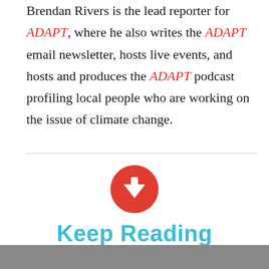Brendan Rivers is the lead reporter for ADAPT, where he also writes the ADAPT email newsletter, hosts live events, and hosts and produces the ADAPT podcast profiling local people who are working on the issue of climate change.
[Figure (illustration): Red circle with white downward-pointing arrow icon, representing a download or scroll-down button]
Keep Reading
[Figure (photo): Partial photo visible at the bottom of the page, appears to be an outdoor scene]